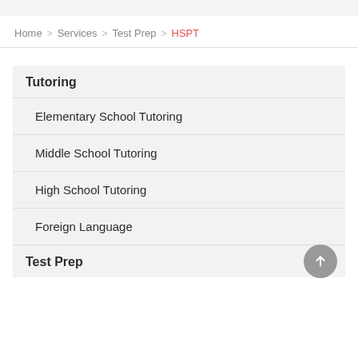Home > Services > Test Prep > HSPT
Tutoring
Elementary School Tutoring
Middle School Tutoring
High School Tutoring
Foreign Language
Test Prep